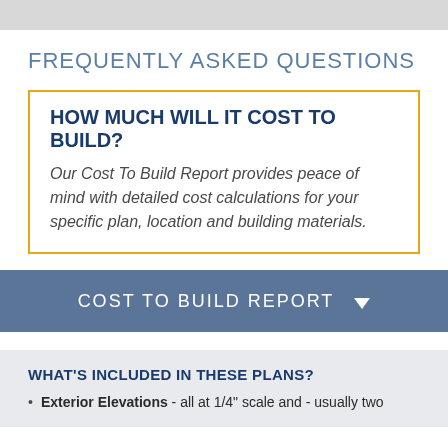FREQUENTLY ASKED QUESTIONS
HOW MUCH WILL IT COST TO BUILD?
Our Cost To Build Report provides peace of mind with detailed cost calculations for your specific plan, location and building materials.
COST TO BUILD REPORT
WHAT'S INCLUDED IN THESE PLANS?
Exterior Elevations - all at 1/4" scale and - usually two